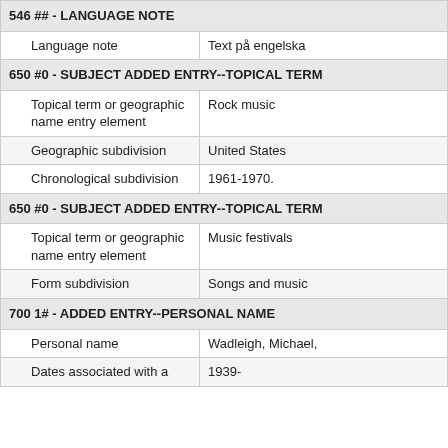546 ## - LANGUAGE NOTE
| Language note | Text på engelska |
650 #0 - SUBJECT ADDED ENTRY--TOPICAL TERM
| Topical term or geographic name entry element | Rock music |
| Geographic subdivision | United States |
| Chronological subdivision | 1961-1970. |
650 #0 - SUBJECT ADDED ENTRY--TOPICAL TERM
| Topical term or geographic name entry element | Music festivals |
| Form subdivision | Songs and music |
700 1# - ADDED ENTRY--PERSONAL NAME
| Personal name | Wadleigh, Michael, |
| Dates associated with a | 1939- |